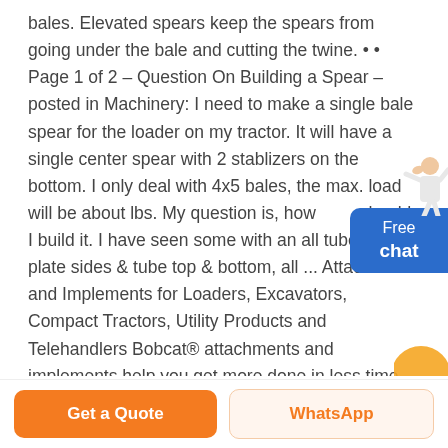bales. Elevated spears keep the spears from going under the bale and cutting the twine. • • Page 1 of 2 – Question On Building a Spear – posted in Machinery: I need to make a single bale spear for the loader on my tractor. It will have a single center spear with 2 stablizers on the bottom. I only deal with 4x5 bales, the max. load will be about lbs. My question is, how should I build it. I have seen some with an all tube frame, plate sides & tube top & bottom, all ... Attachments and Implements for Loaders, Excavators, Compact Tractors, Utility Products and Telehandlers Bobcat® attachments and implements help you get more done in less time, gain versatility, replace l-
[Figure (illustration): Small illustration of a person (customer service representative) with hand raised, positioned above a blue 'Free chat' button widget on the right side.]
[Figure (illustration): Partial sun/orange semicircle icon in the bottom-right area of the content.]
Get a Quote
WhatsApp